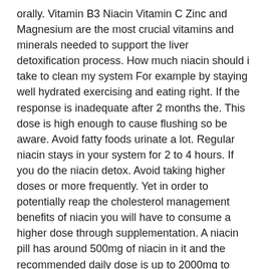orally. Vitamin B3 Niacin Vitamin C Zinc and Magnesium are the most crucial vitamins and minerals needed to support the liver detoxification process. How much niacin should i take to clean my system For example by staying well hydrated exercising and eating right. If the response is inadequate after 2 months the. This dose is high enough to cause flushing so be aware. Avoid fatty foods urinate a lot. Regular niacin stays in your system for 2 to 4 hours. If you do the niacin detox. Avoid taking higher doses or more frequently. Yet in order to potentially reap the cholesterol management benefits of niacin you will have to consume a higher dose through supplementation. A niacin pill has around 500mg of niacin in it and the recommended daily dose is up to 2000mg to prevent the occurrence of negative side effects.
Drink a reasonable amount of water with electrolytes not too much. For more information on read. Anticipate unpleasant side effects particularly skin flushing. Negative Side Effects of Niacin Pills. This has to be independently verified for each individual in order to determine the individuals most efficacious dose. Niacin As a Detox Agent. How much niacin should i take to clean my system .